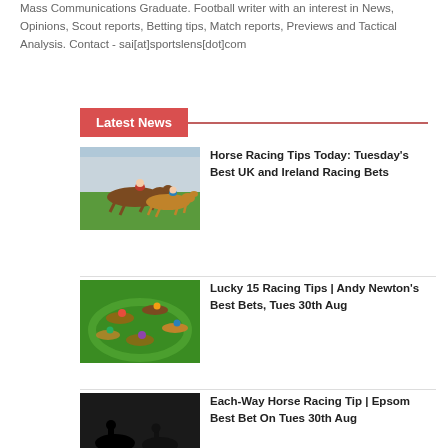Mass Communications Graduate. Football writer with an interest in News, Opinions, Scout reports, Betting tips, Match reports, Previews and Tactical Analysis. Contact - sai[at]sportslens[dot]com
Latest News
[Figure (photo): Two horses racing on a track with jockeys, a green field and stands in background]
Horse Racing Tips Today: Tuesday's Best UK and Ireland Racing Bets
[Figure (photo): Horses racing on a green grass track, aerial-like view]
Lucky 15 Racing Tips | Andy Newton's Best Bets, Tues 30th Aug
[Figure (photo): Black and white silhouette image of horses with Each Way Betting overlay banner in dark blue]
Each-Way Horse Racing Tip | Epsom Best Bet On Tues 30th Aug